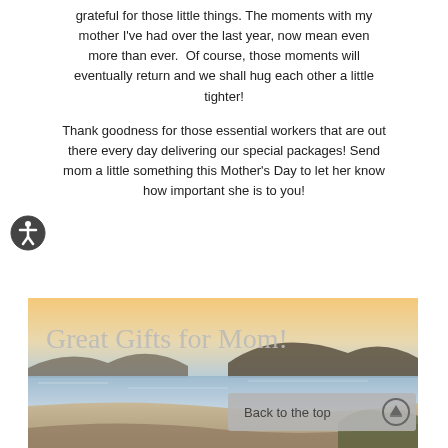grateful for those little things. The moments with my mother I've had over the last year, now mean even more than ever.  Of course, those moments will eventually return and we shall hug each other a little tighter!
Thank goodness for those essential workers that are out there every day delivering our special packages! Send mom a little something this Mother's Day to let her know how important she is to you!
[Figure (photo): A beach scene at sunset with hills in the background and script text overlay reading 'Great Gifts for Mom!' A 'Back to the top' button is overlaid in the lower right corner.]